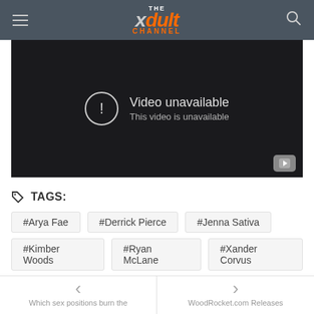THE xdult CHANNEL
[Figure (screenshot): Embedded video player showing 'Video unavailable / This video is unavailable' error message on dark background with YouTube icon in bottom right corner]
TAGS:
#Arya Fae
#Derrick Pierce
#Jenna Sativa
#Kimber Woods
#Ryan McLane
#Xander Corvus
< Which sex positions burn the
> WoodRocket.com Releases